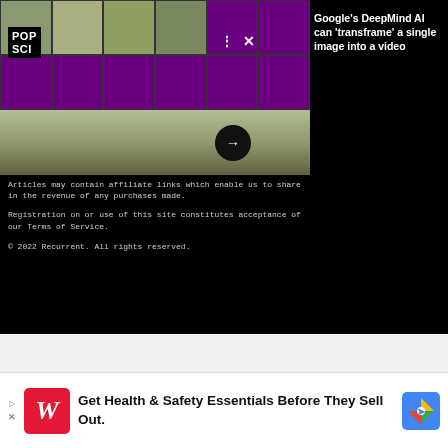[Figure (screenshot): Screenshot of a PopSci website showing a photo grid interface with thumbnail images, POP SCI logo, and a Google DeepMind AI headline about transframing a single image into a video. Below is a road scene screenshot with a forward arrow button.]
Google's DeepMind AI can 'transframe' a single image into a video
Articles may contain affiliate links which enable us to share in the revenue of any purchases made.
Registration on or use of this site constitutes acceptance of our Terms of Service.
© 2022 Recurrent. All rights reserved.
[Figure (screenshot): Advertisement banner: Walgreens logo with text 'Get Health & Safety Essentials Before They Sell Out.' and Google Maps navigation icon on the right.]